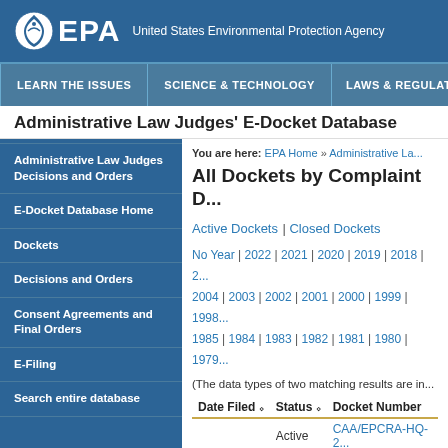EPA - United States Environmental Protection Agency
LEARN THE ISSUES | SCIENCE & TECHNOLOGY | LAWS & REGULATIONS
Administrative Law Judges' E-Docket Database
You are here: EPA Home » Administrative La...
All Dockets by Complaint D...
Active Dockets | Closed Dockets
No Year | 2022 | 2021 | 2020 | 2019 | 2018 | 2... 2004 | 2003 | 2002 | 2001 | 2000 | 1999 | 1998... 1985 | 1984 | 1983 | 1982 | 1981 | 1980 | 1979...
(The data types of two matching results are in...
| Date Filed | Status | Docket Number |
| --- | --- | --- |
|  | Active | CAA/EPCRA-HQ-2... |
| 07/07/2022 | Active | CWA-06-2022-177... |
| 06/28/2022 | Active | CAA-01-2022-0055... |
| 01/01/2022 | Active | FIFRA-HQ-2022-... |